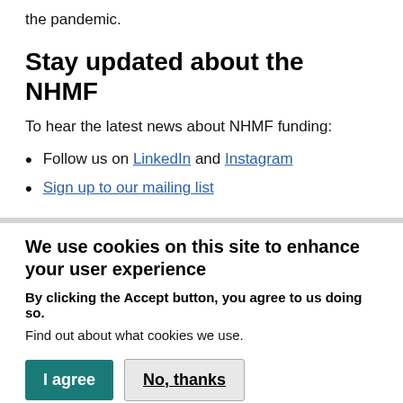the pandemic.
Stay updated about the NHMF
To hear the latest news about NHMF funding:
Follow us on LinkedIn and Instagram
Sign up to our mailing list
We use cookies on this site to enhance your user experience
By clicking the Accept button, you agree to us doing so.
Find out about what cookies we use.
I agree  No, thanks